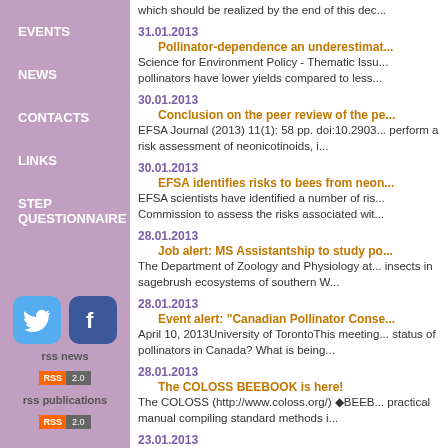EVENTS
NEWS
CONTACTS
LINKS
STEP QUESTIONNAIRE
[Figure (logo): Twitter bird icon (blue rounded square)]
[Figure (logo): Facebook f icon (dark blue rounded square)]
rss news
[Figure (other): RSS 2.0 button - orange RSS label with grey 2.0]
rss publications
[Figure (other): RSS 2.0 button - orange RSS label with grey 2.0]
which should be realized by the end of this dec...
31.01.2013
Pollinator-dependence an underestimat...
Science for Environment Policy - Thematic Issu... pollinators have lower yields compared to less...
30.01.2013
Conclusion on the peer review of the pe...
EFSA Journal (2013) 11(1): 58 pp. doi:10.2903... perform a risk assessment of neonicotinoids, i...
30.01.2013
EFSA identifies risks to bees from neon...
EFSA scientists have identified a number of ris... Commission to assess the risks associated wit...
28.01.2013
Job alert: MS Assistantship to study po...
The Department of Zoology and Physiology at... insects in sagebrush ecosystems of southern W...
28.01.2013
Event alert: "Canadian Pollinator Conse...
April 10, 2013University of TorontoThis meeting... status of pollinators in Canada? What is being...
28.01.2013
The COLOSS BEEBOOK is here!
The COLOSS (http://www.coloss.org/) ◆BEEB... practical manual compiling standard methods i...
23.01.2013
First meeting of the Plenary of the Inte...
The first meeting of the Plenary of the Intergov... morning, delegates discussed the role of the M...